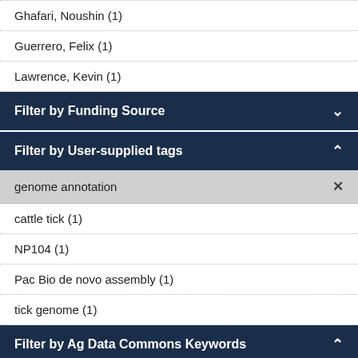Ghafari, Noushin (1)
Guerrero, Felix (1)
Lawrence, Kevin (1)
Filter by Funding Source
Filter by User-supplied tags
genome annotation ×
cattle tick (1)
NP104 (1)
Pac Bio de novo assembly (1)
tick genome (1)
Filter by Ag Data Commons Keywords
Genomics & Genetics ×
Genome (1)